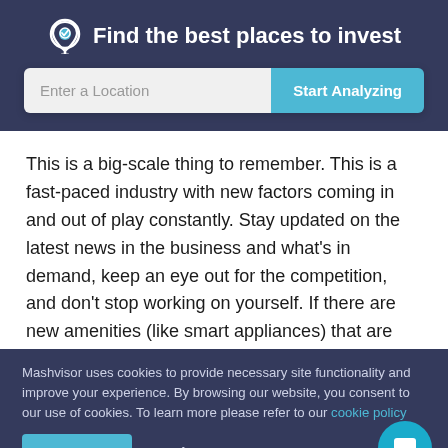Find the best places to invest
[Figure (screenshot): Search input field with placeholder 'Enter a Location' and a 'Start Analyzing' button in teal/blue]
This is a big-scale thing to remember. This is a fast-paced industry with new factors coming in and out of play constantly. Stay updated on the latest news in the business and what's in demand, keep an eye out for the competition, and don't stop working on yourself. If there are new amenities (like smart appliances) that are becoming the new standard, you need to take this into consideration. The
Mashvisor uses cookies to provide necessary site functionality and improve your experience. By browsing our website, you consent to our use of cookies. To learn more please refer to our cookie policy
Accept
Reject